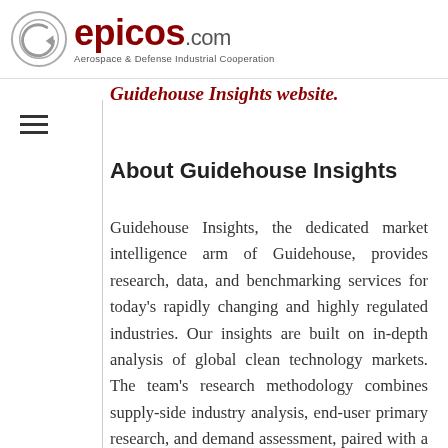epicos.com — Aerospace & Defense Industrial Cooperation
Guidehouse Insights website.
About Guidehouse Insights
Guidehouse Insights, the dedicated market intelligence arm of Guidehouse, provides research, data, and benchmarking services for today's rapidly changing and highly regulated industries. Our insights are built on in-depth analysis of global clean technology markets. The team's research methodology combines supply-side industry analysis, end-user primary research, and demand assessment, paired with a deep examination of technology trends, to provide a comprehensive view of emerging resilient infrastructure systems. Additional information about Guidehouse Insights can be found at